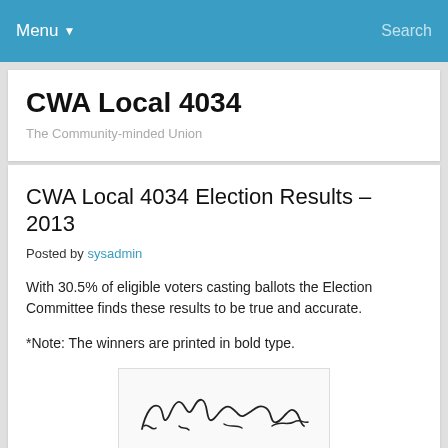Menu ▾   Search
CWA Local 4034
The Community-minded Union
CWA Local 4034 Election Results – 2013
Posted by sysadmin
With 30.5% of eligible voters casting ballots the Election Committee finds these results to be true and accurate.
*Note: The winners are printed in bold type.
[Figure (illustration): Handwritten signature of an official, cursive script on a light background]